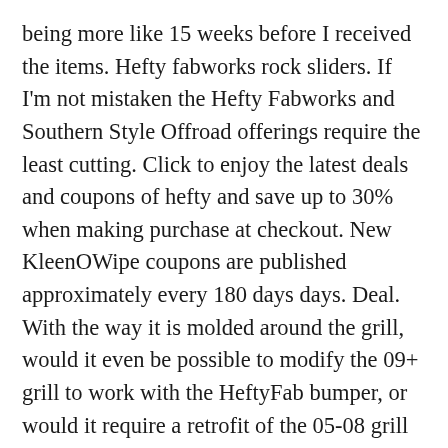being more like 15 weeks before I received the items. Hefty fabworks rock sliders. If I'm not mistaken the Hefty Fabworks and Southern Style Offroad offerings require the least cutting. Click to enjoy the latest deals and coupons of hefty and save up to 30% when making purchase at checkout. New KleenOWipe coupons are published approximately every 180 days days. Deal. With the way it is molded around the grill, would it even be possible to modify the 09+ grill to work with the HeftyFab bumper, or would it require a retrofit of the 05-08 grill to make it fit? The domain heftyfab.com uses a Commercial suffix and it's server(s) are located in N/A with the IP number 23.227.38.65 and it is a .com. Hefty fabworks 5th gen 4runner. One of today's top offer is :Enjoy 10% Off